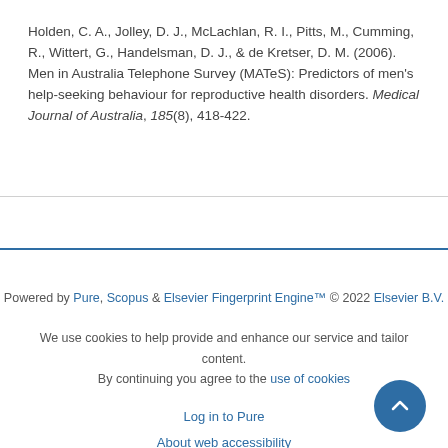Holden, C. A., Jolley, D. J., McLachlan, R. I., Pitts, M., Cumming, R., Wittert, G., Handelsman, D. J., & de Kretser, D. M. (2006). Men in Australia Telephone Survey (MATeS): Predictors of men's help-seeking behaviour for reproductive health disorders. Medical Journal of Australia, 185(8), 418-422.
Powered by Pure, Scopus & Elsevier Fingerprint Engine™ © 2022 Elsevier B.V.
We use cookies to help provide and enhance our service and tailor content. By continuing you agree to the use of cookies
Log in to Pure
About web accessibility